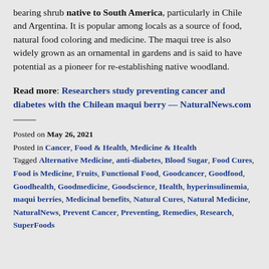bearing shrub native to South America, particularly in Chile and Argentina. It is popular among locals as a source of food, natural food coloring and medicine. The maqui tree is also widely grown as an ornamental in gardens and is said to have potential as a pioneer for re-establishing native woodland.
Read more: Researchers study preventing cancer and diabetes with the Chilean maqui berry — NaturalNews.com
Posted on May 26, 2021
Posted in Cancer, Food & Health, Medicine & Health
Tagged Alternative Medicine, anti-diabetes, Blood Sugar, Food Cures, Food is Medicine, Fruits, Functional Food, Goodcancer, Goodfood, Goodhealth, Goodmedicine, Goodscience, Health, hyperinsulinemia, maqui berries, Medicinal benefits, Natural Cures, Natural Medicine, NaturalNews, Prevent Cancer, Preventing, Remedies, Research, SuperFoods